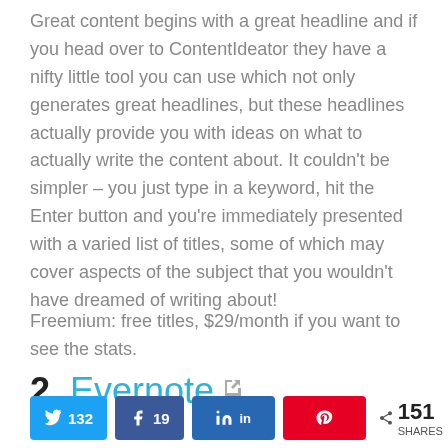Great content begins with a great headline and if you head over to ContentIdeator they have a nifty little tool you can use which not only generates great headlines, but these headlines actually provide you with ideas on what to actually write the content about. It couldn't be simpler – you just type in a keyword, hit the Enter button and you're immediately presented with a varied list of titles, some of which may cover aspects of the subject that you wouldn't have dreamed of writing about!
Freemium: free titles, $29/month if you want to see the stats.
2. Evernote
132 | 19 | in | < 151 SHARES